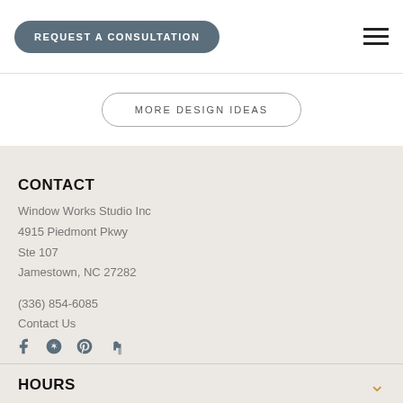REQUEST A CONSULTATION
MORE DESIGN IDEAS
CONTACT
Window Works Studio Inc
4915 Piedmont Pkwy
Ste 107
Jamestown, NC 27282
(336) 854-6085
Contact Us
[Figure (other): Social media icons: Facebook, Yelp, Pinterest, Houzz]
HOURS